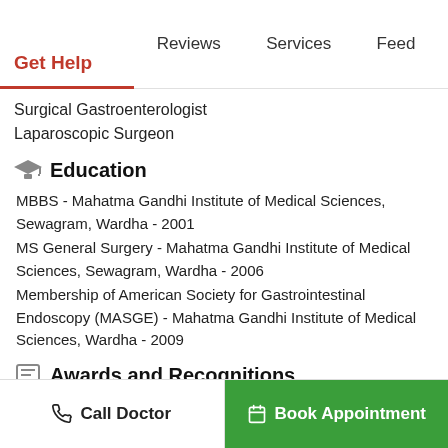Get Help | Reviews | Services | Feed
Surgical Gastroenterologist
Laparoscopic Surgeon
Education
MBBS - Mahatma Gandhi Institute of Medical Sciences, Sewagram, Wardha - 2001
MS General Surgery - Mahatma Gandhi Institute of Medical Sciences, Sewagram, Wardha - 2006
Membership of American Society for Gastrointestinal Endoscopy (MASGE) - Mahatma Gandhi Institute of Medical Sciences, Wardha - 2009
Awards and Recognitions
IFSO travelling scholarship awarded in Buenos Aires Argentina
First Asian Female Surgeon to be accredited by Center for Excellence for bariatric surgery by SRC USA
Call Doctor | Book Appointment